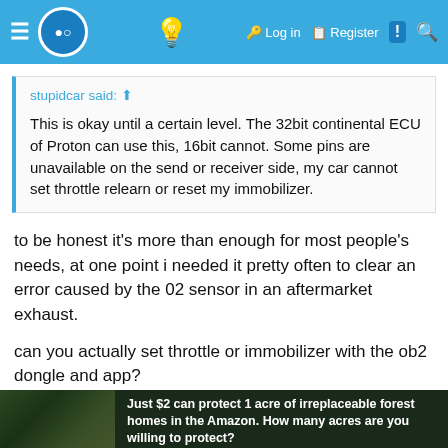Navigation bar with logo, lightbulb icon, Log in, Register, notifications, and search
stupidcar said: ↑
This is okay until a certain level. The 32bit continental ECU of Proton can use this, 16bit cannot. Some pins are unavailable on the send or receiver side, my car cannot set throttle relearn or reset my immobilizer.
to be honest it's more than enough for most people's needs, at one point i needed it pretty often to clear an error caused by the 02 sensor in an aftermarket exhaust.
can you actually set throttle or immobilizer with the ob2 dongle and app?
Tom
[Figure (photo): Avatar photo of user Tom showing dark nature/forest scene]
[Figure (photo): Advertisement banner: Just $2 can protect 1 acre of irreplaceable forest homes in the Amazon. How many acres are you willing to protect? PROTECT FORESTS NOW]